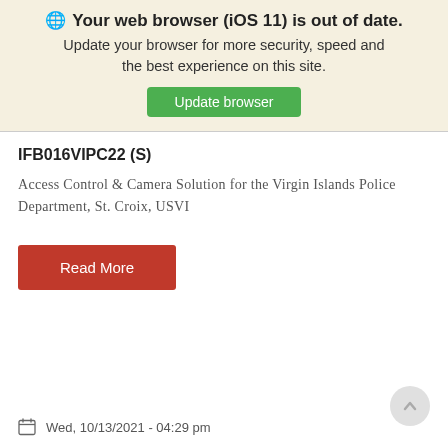🌐 Your web browser (iOS 11) is out of date. Update your browser for more security, speed and the best experience on this site. Update browser
IFB016VIPC22 (S)
Access Control & Camera Solution for the Virgin Islands Police Department, St. Croix, USVI
Read More
Wed, 10/13/2021 - 04:29 pm